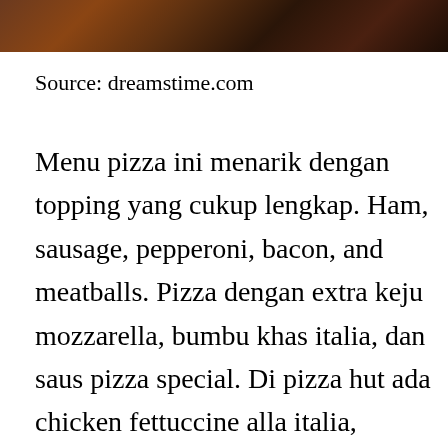[Figure (photo): Top portion of a photo showing what appears to be a pizza or food item, cropped at the bottom edge of the image strip at the top of the page.]
Source: dreamstime.com
Menu pizza ini menarik dengan topping yang cukup lengkap. Ham, sausage, pepperoni, bacon, and meatballs. Pizza dengan extra keju mozzarella, bumbu khas italia, dan saus pizza special. Di pizza hut ada chicken fettuccine alla italia, cheesy beef spaghetti, atau mac n' cheese yang siap ngenyangin perut kalian bareng 1 snack pilihan. Published by oxford university